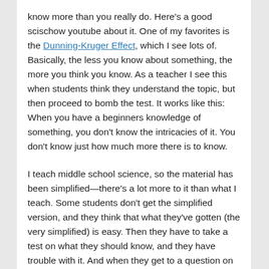know more than you really do. Here's a good scischow youtube about it. One of my favorites is the Dunning-Kruger Effect, which I see lots of. Basically, the less you know about something, the more you think you know. As a teacher I see this when students think they understand the topic, but then proceed to bomb the test. It works like this: When you have a beginners knowledge of something, you don't know the intricacies of it. You don't know just how much more there is to know.
I teach middle school science, so the material has been simplified—there's a lot more to it than what I teach. Some students don't get the simplified version, and they think that what they've gotten (the very simplified) is easy. Then they have to take a test on what they should know, and they have trouble with it. And when they get to a question on higher-order thinking skills … watch out!
The thing is, I think they could do much better. But when they're studying, they think they know it, so they don't study much. If they understood how much more they need